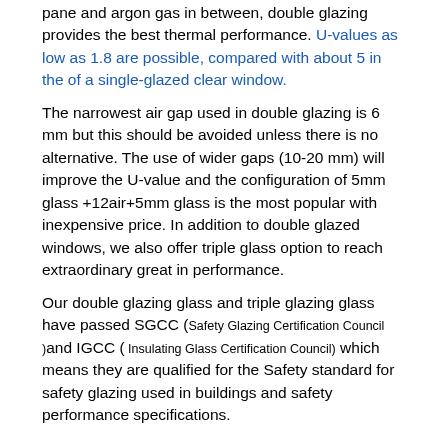pane and argon gas in between, double glazing provides the best thermal performance. U-values as low as 1.8 are possible, compared with about 5 in the of a single-glazed clear window.
The narrowest air gap used in double glazing is 6 mm but this should be avoided unless there is no alternative. The use of wider gaps (10-20 mm) will improve the U-value and the configuration of 5mm glass +12air+5mm glass is the most popular with inexpensive price. In addition to double glazed windows, we also offer triple glass option to reach extraordinary great in performance.
Our double glazing glass and triple glazing glass have passed SGCC (Safety Glazing Certification Council )and IGCC ( Insulating Glass Certification Council) which means they are qualified for the Safety standard for safety glazing used in buildings and safety performance specifications.